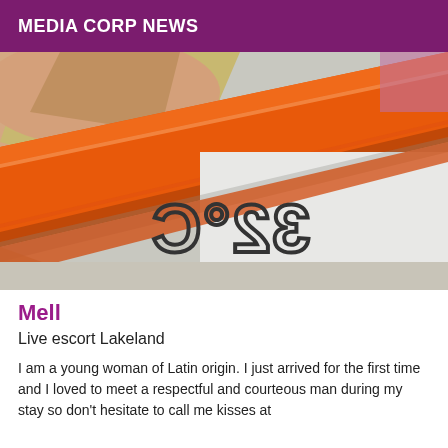MEDIA CORP NEWS
[Figure (photo): Close-up photo of an orange picture frame diagonal across a light background, with a person's arm/shoulder visible at top left. A mirrored/reflected text showing '32°C' appears in the lower right portion of the image.]
Mell
Live escort Lakeland
I am a young woman of Latin origin. I just arrived for the first time and I loved to meet a respectful and courteous man during my stay so don't hesitate to call me kisses at